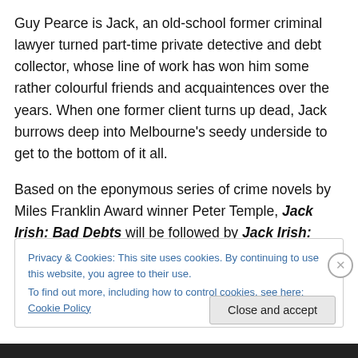Guy Pearce is Jack, an old-school former criminal lawyer turned part-time private detective and debt collector, whose line of work has won him some rather colourful friends and acquaintences over the years. When one former client turns up dead, Jack burrows deep into Melbourne's seedy underside to get to the bottom of it all.
Based on the eponymous series of crime novels by Miles Franklin Award winner Peter Temple, Jack Irish: Bad Debts will be followed by Jack Irish: Black Tide.
Privacy & Cookies: This site uses cookies. By continuing to use this website, you agree to their use. To find out more, including how to control cookies, see here: Cookie Policy